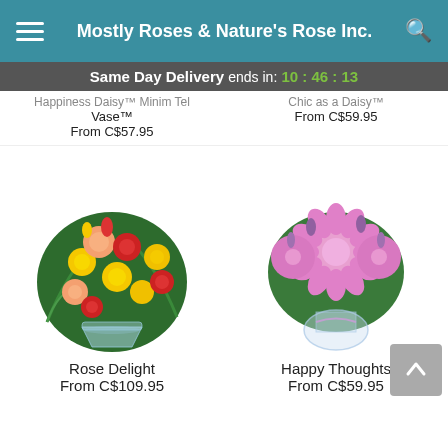Mostly Roses & Nature's Rose Inc.
Same Day Delivery ends in: 10:46:13
Vase™
From C$57.95
From C$59.95
[Figure (photo): Bouquet of mixed yellow, red, and peach roses with green foliage in a clear glass vase]
[Figure (photo): Bouquet of pink daisy/chrysanthemum flowers in a round clear glass vase]
Rose Delight
From C$109.95
Happy Thoughts
From C$59.95